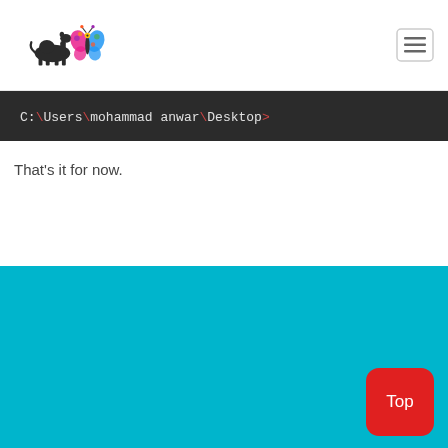[Figure (logo): Camel and butterfly/bee colorful logo icons]
[Figure (other): Hamburger menu button icon]
C:\Users\mohammad anwar\Desktop>
That's it for now.
[Figure (other): Teal colored footer area]
Top